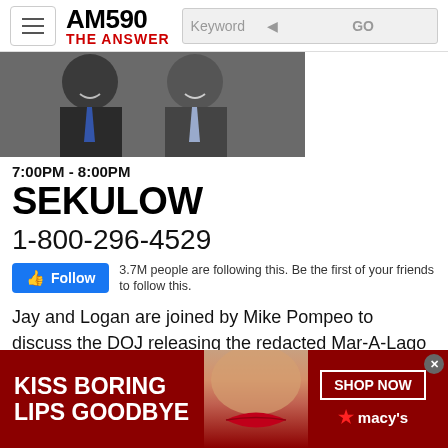AM590 THE ANSWER
[Figure (photo): Two men in suits smiling, show photo for Sekulow]
7:00PM - 8:00PM
SEKULOW
1-800-296-4529
Follow  3.7M people are following this. Be the first of your friends to follow this.
Jay and Logan are joined by Mike Pompeo to discuss the DOJ releasing the redacted Mar-A-Lago search warrant affidavit.
[Figure (photo): Advertisement banner: KISS BORING LIPS GOODBYE - SHOP NOW - macy's]